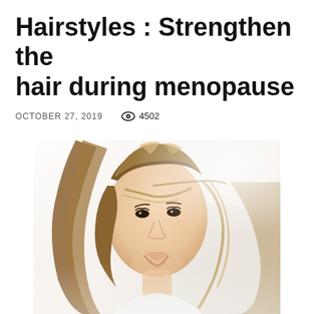Hairstyles : Strengthen the hair during menopause
OCTOBER 27, 2019   👁 4502
[Figure (photo): Portrait of a smiling young woman with long blonde highlighted hair blowing in the wind, against a bright white/light background. She is looking slightly upward and to the right, wearing a white top.]